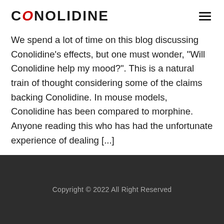CONOLIDINE
We spend a lot of time on this blog discussing Conolidine's effects, but one must wonder, "Will Conolidine help my mood?". This is a natural train of thought considering some of the claims backing Conolidine. In mouse models, Conolidine has been compared to morphine. Anyone reading this who has had the unfortunate experience of dealing [...]
Copyright © 2022 All Right Reserved